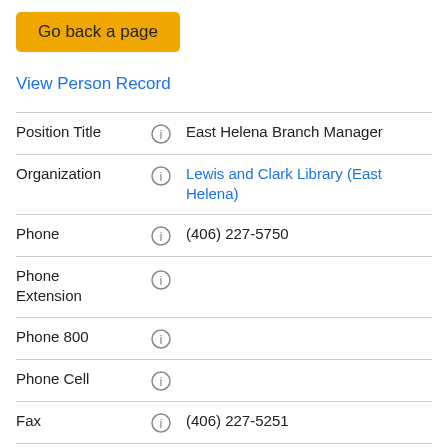Go back a page
View Person Record
| Field | Info | Value |
| --- | --- | --- |
| Position Title | ℹ | East Helena Branch Manager |
| Organization | ℹ | Lewis and Clark Library (East Helena) |
| Phone | ℹ | (406) 227-5750 |
| Phone Extension | ℹ |  |
| Phone 800 | ℹ |  |
| Phone Cell | ℹ |  |
| Fax | ℹ | (406) 227-5251 |
| Email | ℹ | aeckerson@lclibrary.org |
| Physical | ℹ | 10 E Main St |